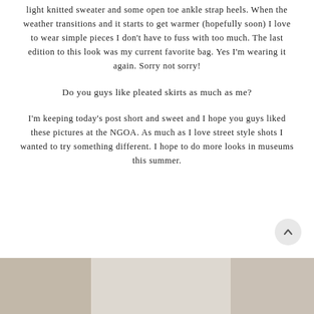light knitted sweater and some open toe ankle strap heels. When the weather transitions and it starts to get warmer (hopefully soon) I love to wear simple pieces I don't have to fuss with too much. The last edition to this look was my current favorite bag. Yes I'm wearing it again. Sorry not sorry!
Do you guys like pleated skirts as much as me?
I'm keeping today's post short and sweet and I hope you guys liked these pictures at the NGOA. As much as I love street style shots I wanted to try something different. I hope to do more looks in museums this summer.
[Figure (photo): Bottom strip showing partial photo of what appears to be museum or gallery interior with beige/neutral tones, split into three columns]